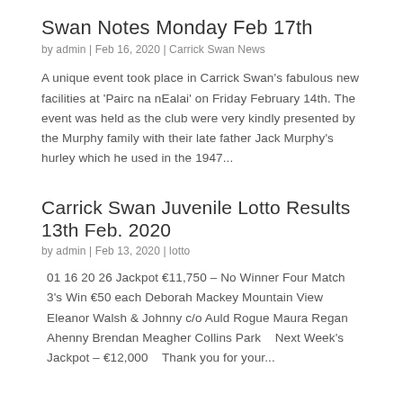Swan Notes Monday Feb 17th
by admin | Feb 16, 2020 | Carrick Swan News
A unique event took place in Carrick Swan's fabulous new facilities at 'Pairc na nEalai' on Friday February 14th. The event was held as the club were very kindly presented by the Murphy family with their late father Jack Murphy's hurley which he used in the 1947...
Carrick Swan Juvenile Lotto Results 13th Feb. 2020
by admin | Feb 13, 2020 | lotto
01 16 20 26 Jackpot €11,750 – No Winner Four Match 3's Win €50 each Deborah Mackey Mountain View Eleanor Walsh & Johnny c/o Auld Rogue Maura Regan Ahenny Brendan Meagher Collins Park   Next Week's Jackpot – €12,000   Thank you for your...